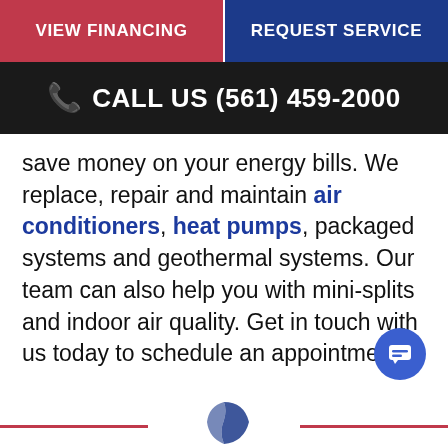VIEW FINANCING | REQUEST SERVICE
CALL US (561) 459-2000
save money on your energy bills. We replace, repair and maintain air conditioners, heat pumps, packaged systems and geothermal systems. Our team can also help you with mini-splits and indoor air quality. Get in touch with us today to schedule an appointment.
[Figure (illustration): Blue circular chat button with speech bubble icon]
[Figure (logo): Partial company logo at bottom center with red horizontal lines flanking it]